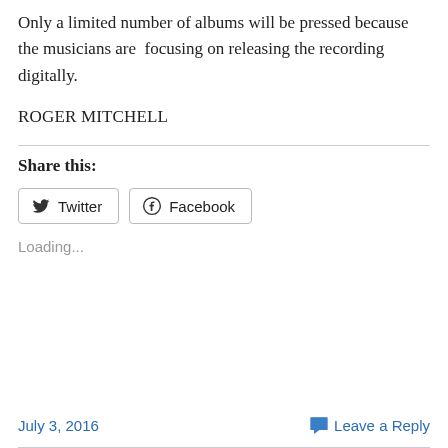Only a limited number of albums will be pressed because the musicians are  focusing on releasing the recording digitally.
ROGER MITCHELL
Share this:
Twitter
Facebook
Loading...
July 3, 2016   Leave a Reply